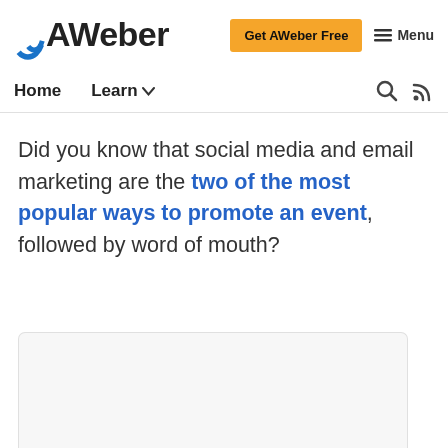AWeber — Get AWeber Free — Menu
Home | Learn
Did you know that social media and email marketing are the two of the most popular ways to promote an event, followed by word of mouth?